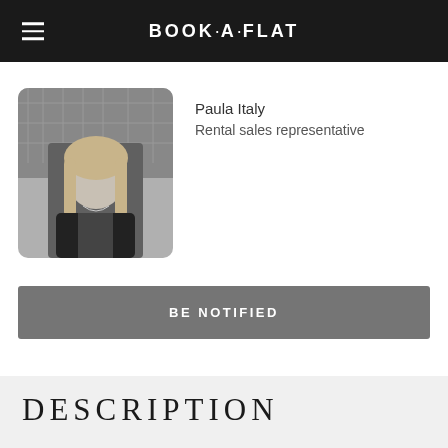BOOK·A·FLAT
[Figure (photo): Profile photo of a young woman with long blonde hair, wearing a black blazer, with a grayscale aerial city map in the background.]
Paula Italy
Rental sales representative
BE NOTIFIED
DESCRIPTION